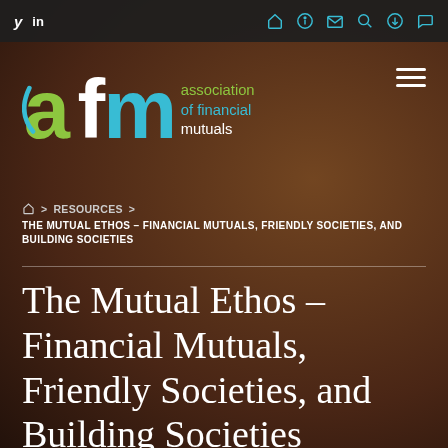y  in  [home] [info] [mail] [search] [download] [chat]
[Figure (logo): AFM - association of financial mutuals logo with green 'a', white 'f', teal 'm' letters and text 'association of financial mutuals']
⌂ > RESOURCES > THE MUTUAL ETHOS – FINANCIAL MUTUALS, FRIENDLY SOCIETIES, AND BUILDING SOCIETIES
The Mutual Ethos – Financial Mutuals, Friendly Societies, and Building Societies